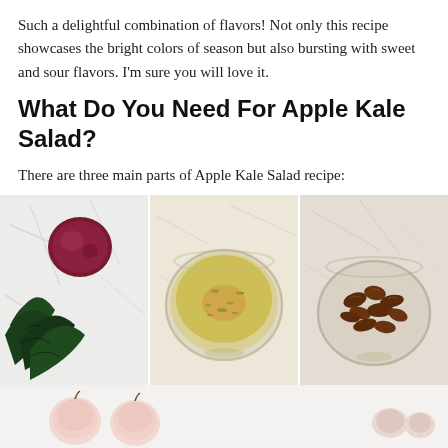Such a delightful combination of flavors! Not only this recipe showcases the bright colors of season but also bursting with sweet and sour flavors. I'm sure you will love it.
What Do You Need For Apple Kale Salad?
There are three main parts of Apple Kale Salad recipe:
[Figure (photo): Three-panel food photo showing: left panel with a red cabbage/radicchio and dark kale leaves on a white marble surface; center panel with a glass bowl containing olive oil dressing with herbs; right panel with a glass bowl of pecans.]
[Figure (photo): Bottom strip showing two small apples on the left side and small items (possibly garlic or onion) on the right side, on a light background.]